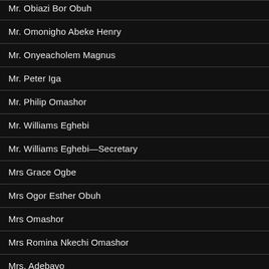Mr. Obiazi Bor Obuh
Mr. Omonigho Abeke Henry
Mr. Onyeacholem Magnus
Mr. Peter Iga
Mr. Philip Omashor
Mr. Williams Eghebi
Mr. Williams Eghebi—Secretary
Mrs Grace Ogbe
Mrs Ogor Esther Obuh
Mrs Omashor
Mrs Romina Nkechi Omashor
Mrs. Adebayo
Mrs. Ikeoyi